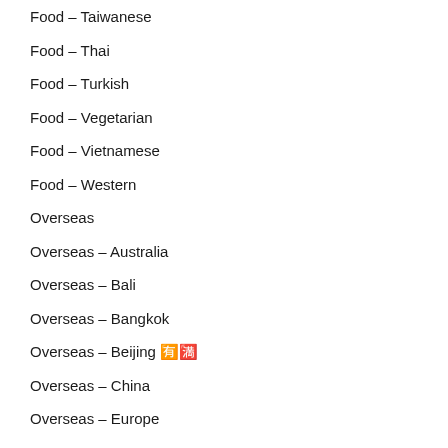Food – Taiwanese
Food – Thai
Food – Turkish
Food – Vegetarian
Food – Vietnamese
Food – Western
Overseas
Overseas – Australia
Overseas – Bali
Overseas – Bangkok
Overseas – Beijing 🈶🈵
Overseas – China
Overseas – Europe
Overseas – France
Overseas – Greece
Overseas – Hawaii